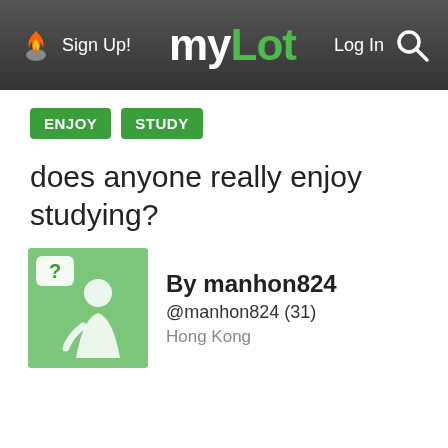Sign Up! myLot Log In
ENJOY
STUDY
does anyone really enjoy studying?
By manhon824 @manhon824 (31) Hong Kong